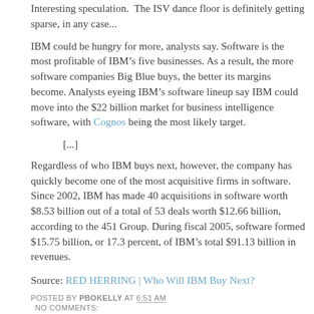Interesting speculation. The ISV dance floor is definitely getting sparse, in any case...
IBM could be hungry for more, analysts say. Software is the most profitable of IBM’s five businesses. As a result, the more software companies Big Blue buys, the better its margins become. Analysts eyeing IBM’s software lineup say IBM could move into the $22 billion market for business intelligence software, with Cognos being the most likely target.
[...]
Regardless of who IBM buys next, however, the company has quickly become one of the most acquisitive firms in software. Since 2002, IBM has made 40 acquisitions in software worth $8.53 billion out of a total of 53 deals worth $12.66 billion, according to the 451 Group. During fiscal 2005, software formed $15.75 billion, or 17.3 percent, of IBM’s total $91.13 billion in revenues.
Source: RED HERRING | Who Will IBM Buy Next?
POSTED BY PBOKELLY AT 6:51 AM
NO COMMENTS: